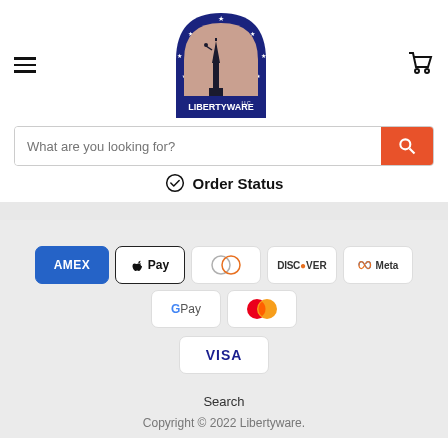[Figure (logo): Libertyware LLC logo: blue arch with stars, Statue of Liberty silhouette, text LIBERTYWARE LLC]
What are you looking for?
Order Status
[Figure (infographic): Payment method icons: AMEX, Apple Pay, Diners Club, Discover, Meta Pay, Google Pay, Mastercard, Visa]
Search
Copyright © 2022 Libertyware.